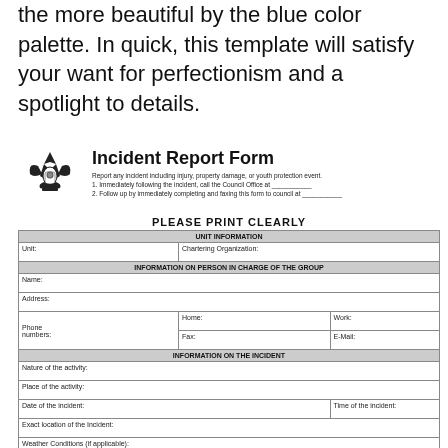the more beautiful by the blue color palette. In quick, this template will satisfy your want for perfectionism and a spotlight to details.
[Figure (logo): Boy Scouts of America fleur-de-lis logo]
Incident Report Form
Report any incident including injury, property damage, or youth protection event.
1. Immediately following the incident, call the Council Office at ___________
2. Follow up by immediately completing and faxing this form to council at ___________
PLEASE PRINT CLEARLY
| UNIT INFORMATION |
| Unit: | Chartering Organization: |
| INFORMATION ON PERSON IN CHARGE OF THE GROUP |
| Name: |
| Address: |
| Phone numbers: | Home: | Work: |
|  | Fax: | E-Mail: |
| INFORMATION ON THE INCIDENT |
| Nature of the activity: |
| Place of the activity: |
| Date of the incident: | Time of the incident: |
| Exact location of the Incident: |
| Weather Conditions (if applicable): |
| Name of Leader in charge at the time: |
| Description of incident (if vehicle involved, attach owner, driver, registration info on separate page.) |